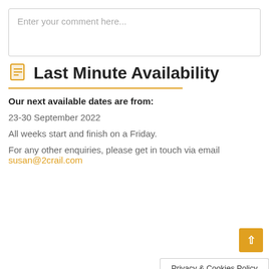Enter your comment here...
Last Minute Availability
Our next available dates are from:
23-30 September 2022
All weeks start and finish on a Friday.
For any other enquiries, please get in touch via email susan@2crail.com
Privacy & Cookies Policy